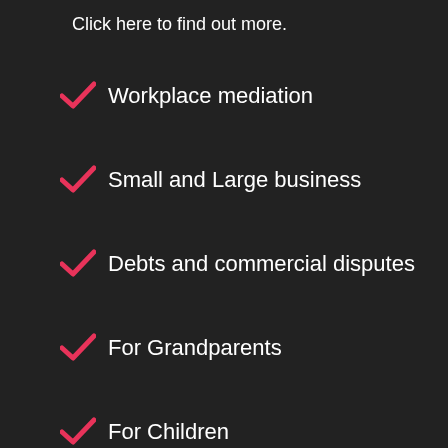Click here to find out more.
Workplace mediation
Small and Large business
Debts and commercial disputes
For Grandparents
For Children